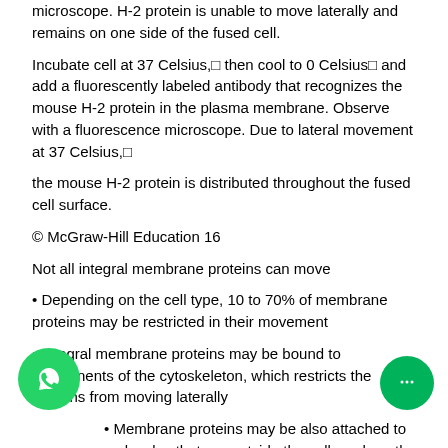microscope. H-2 protein is unable to move laterally and remains on one side of the fused cell.
Incubate cell at 37 Celsius,🔲 then cool to 0 Celsius🔲 and add a fluorescently labeled antibody that recognizes the mouse H-2 protein in the plasma membrane. Observe with a fluorescence microscope. Due to lateral movement at 37 Celsius,🔲
the mouse H-2 protein is distributed throughout the fused cell surface.
© McGraw-Hill Education 16
Not all integral membrane proteins can move
• Depending on the cell type, 10 to 70% of membrane proteins may be restricted in their movement
• Integral membrane proteins may be bound to components of the cytoskeleton, which restricts the proteins from moving laterally
• Membrane proteins may be also attached to molecules that are outside the cell, such as the interconnected network of proteins that forms the extracellular matrix